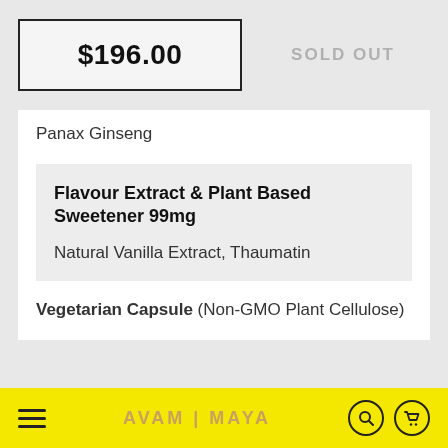$196.00
SOLD OUT
Panax Ginseng
Flavour Extract & Plant Based Sweetener 99mg
Natural Vanilla Extract, Thaumatin
Vegetarian Capsule (Non-GMO Plant Cellulose)
AVAM | MAYA